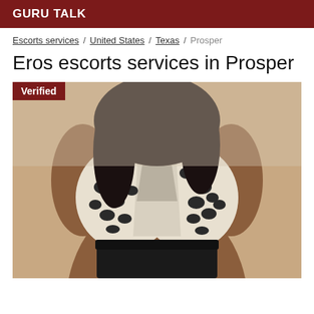GURU TALK
Escorts services / United States / Texas / Prosper
Eros escorts services in Prosper
[Figure (photo): Woman wearing a leopard print halter top and black leather skirt with a 'Verified' badge overlay in the top left corner]